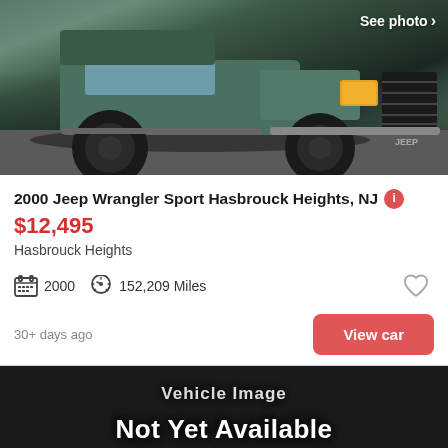[Figure (photo): Green Jeep Wrangler front view with headlights and grille visible]
2000 Jeep Wrangler Sport Hasbrouck Heights, NJ
$12,495
Hasbrouck Heights
2000    152,209 Miles
30+ days ago
View car
[Figure (photo): Black placeholder image with text 'Vehicle Image Not Yet Available' and car silhouette]